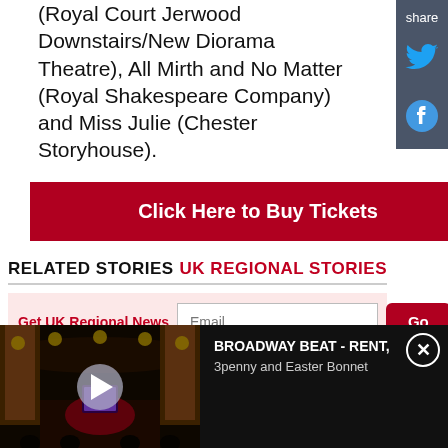(Royal Court Jerwood Downstairs/New Diorama Theatre), All Mirth and No Matter (Royal Shakespeare Company) and Miss Julie (Chester Storyhouse).
[Figure (other): Red button: Click Here to Buy Tickets]
RELATED STORIES
UK REGIONAL STORIES
Get UK Regional News — Email input and Go button
[Figure (screenshot): Video thumbnail of theatre stage with play button, title: BROADWAY BEAT - RENT, 3penny and Easter Bonnet]